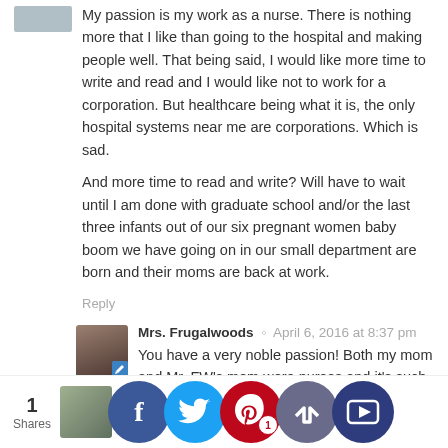My passion is my work as a nurse. There is nothing more that I like than going to the hospital and making people well. That being said, I would like more time to write and read and I would like not to work for a corporation. But healthcare being what it is, the only hospital systems near me are corporations. Which is sad.
And more time to read and write? Will have to wait until I am done with graduate school and/or the last three infants out of our six pregnant women baby boom we have going on in our small department are born and their moms are back at work.
Reply
Mrs. Frugalwoods · April 6, 2016 at 8:37 pm
You have a very noble passion! Both my mom and Mr. FW's mom were nurses and it's such a wonderful calling. Thank you for being a nurse! I hope you're able to get the work/life balance you seek though, that is extremely important!
Reply
1 Shares